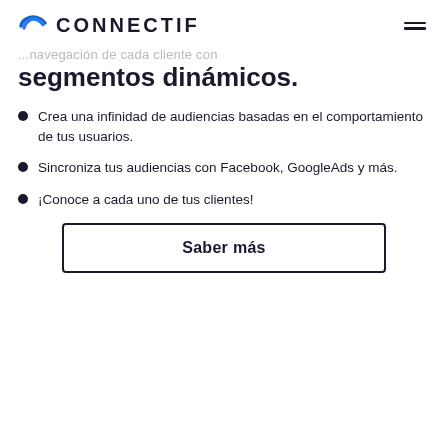CONNECTIF
...navegación de cada cliente con
segmentos dinámicos.
Crea una infinidad de audiencias basadas en el comportamiento de tus usuarios.
Sincroniza tus audiencias con Facebook, GoogleAds y más.
¡Conoce a cada uno de tus clientes!
Saber más